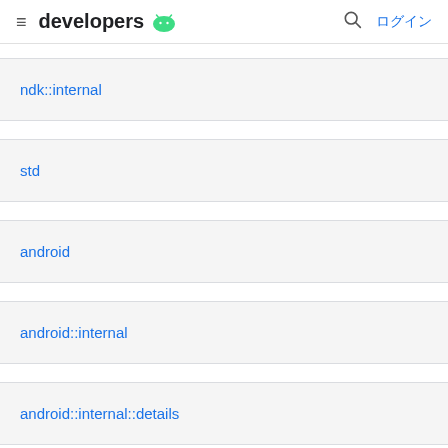≡ developers 🤖 🔍 ログイン
ndk::internal
std
android
android::internal
android::internal::details